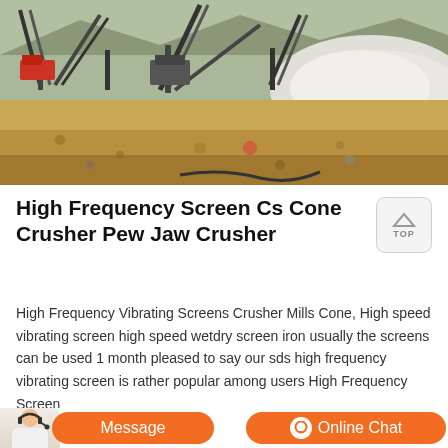[Figure (photo): Outdoor quarry/mining site with conveyor belt machinery, large white aggregate pile on the right, and sandy/gravel ground in the foreground]
High Frequency Screen Cs Cone Crusher Pew Jaw Crusher
High Frequency Vibrating Screens Crusher Mills Cone, High speed vibrating screen high speed wetdry screen iron usually the screens can be used 1 month pleased to say our sds high frequency vibrating screen is rather popular among users High Frequency Screen
[Figure (photo): Customer service agent with headset, Message button and Online Chat button in orange]